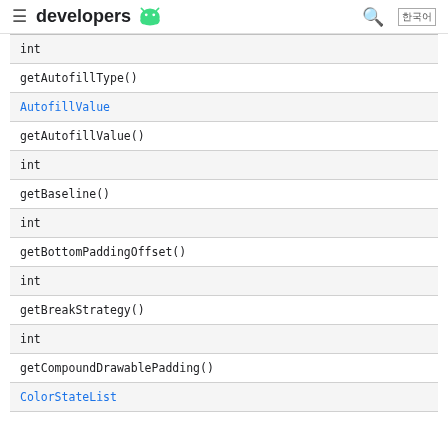developers [android logo]
| int |
| getAutofillType() |
| AutofillValue |
| getAutofillValue() |
| int |
| getBaseline() |
| int |
| getBottomPaddingOffset() |
| int |
| getBreakStrategy() |
| int |
| getCompoundDrawablePadding() |
| ColorStateList |